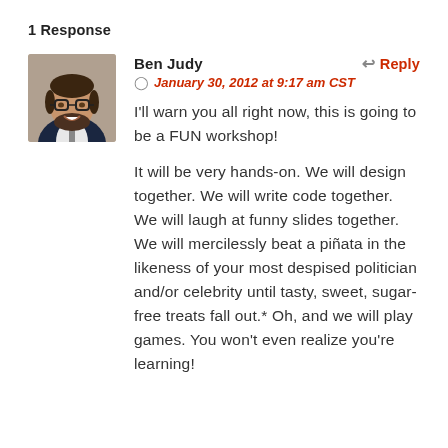1 Response
Ben Judy
Reply
January 30, 2012 at 9:17 am CST
[Figure (photo): Profile photo of Ben Judy, a smiling man with glasses and beard, wearing a dark suit jacket]
I’ll warn you all right now, this is going to be a FUN workshop!

It will be very hands-on. We will design together. We will write code together. We will laugh at funny slides together. We will mercilessly beat a piñata in the likeness of your most despised politician and/or celebrity until tasty, sweet, sugar-free treats fall out.* Oh, and we will play games. You won’t even realize you’re learning!